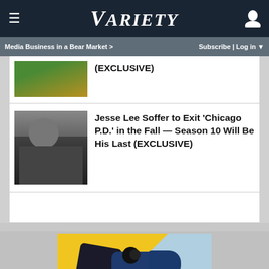VARIETY
Media Business in a Bear Market >  Subscribe | Log in
(EXCLUSIVE)
Jesse Lee Soffer to Exit 'Chicago P.D.' in the Fall — Season 10 Will Be His Last (EXCLUSIVE)
[Figure (photo): Advertisement: massage gun device on yellow/blue background. SPY SMART HOME AWARDS 75 BEST GADGETS OF 2022]